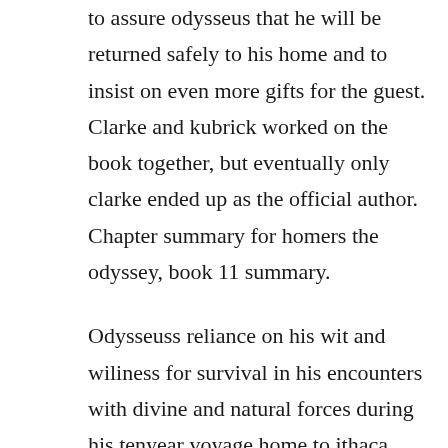to assure odysseus that he will be returned safely to his home and to insist on even more gifts for the guest. Clarke and kubrick worked on the book together, but eventually only clarke ended up as the official author. Chapter summary for homers the odyssey, book 11 summary.
Odysseuss reliance on his wit and wiliness for survival in his encounters with divine and natural forces during his tenyear voyage home to ithaca after the trojan war is at once a timeless human story and an individual test of